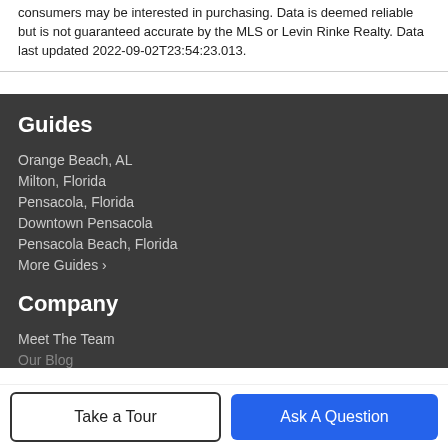consumers may be interested in purchasing. Data is deemed reliable but is not guaranteed accurate by the MLS or Levin Rinke Realty. Data last updated 2022-09-02T23:54:23.013.
Guides
Orange Beach, AL
Milton, Florida
Pensacola, Florida
Downtown Pensacola
Pensacola Beach, Florida
More Guides >
Company
Meet The Team
Our Blog